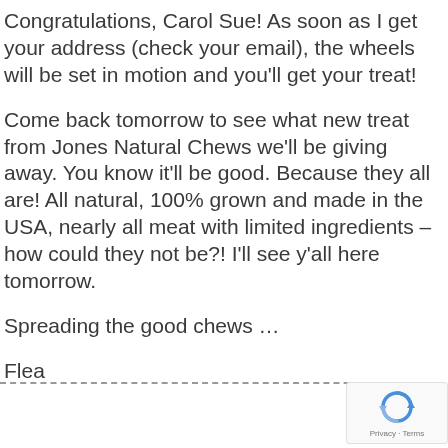Congratulations, Carol Sue! As soon as I get your address (check your email), the wheels will be set in motion and you'll get your treat!
Come back tomorrow to see what new treat from Jones Natural Chews we'll be giving away. You know it'll be good. Because they all are! All natural, 100% grown and made in the USA, nearly all meat with limited ingredients – how could they not be?! I'll see y'all here tomorrow.
Spreading the good chews …
Flea
[Figure (other): reCAPTCHA logo with Privacy and Terms link]